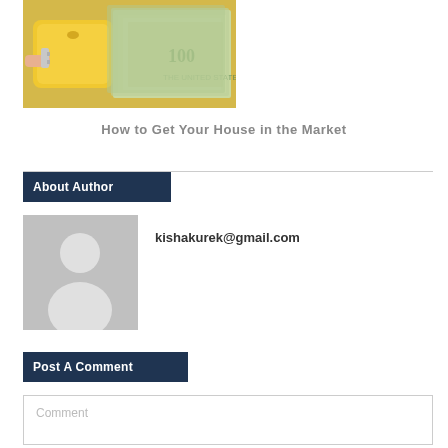[Figure (photo): Photo showing hands holding a yellow piggy bank or box with a key, and a stack of US dollar bills beside it]
How to Get Your House in the Market
About Author
[Figure (photo): Generic grey avatar/placeholder silhouette image of a person]
kishakurek@gmail.com
Post A Comment
Comment